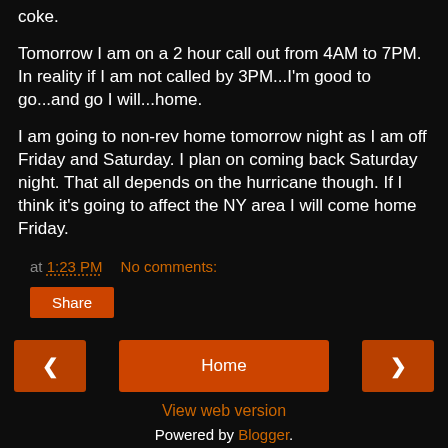coke.
Tomorrow I am on a 2 hour call out from 4AM to 7PM. In reality if I am not called by 3PM...I'm good to go...and go I will...home.
I am going to non-rev home tomorrow night as I am off Friday and Saturday. I plan on coming back Saturday night. That all depends on the hurricane though. If I think it's going to affect the NY area I will come home Friday.
at 1:23 PM   No comments:
Share
Home
View web version
Powered by Blogger.